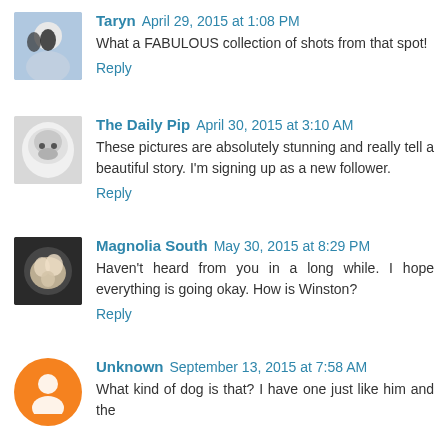Taryn April 29, 2015 at 1:08 PM
What a FABULOUS collection of shots from that spot!
Reply
The Daily Pip April 30, 2015 at 3:10 AM
These pictures are absolutely stunning and really tell a beautiful story. I'm signing up as a new follower.
Reply
Magnolia South May 30, 2015 at 8:29 PM
Haven't heard from you in a long while. I hope everything is going okay. How is Winston?
Reply
Unknown September 13, 2015 at 7:58 AM
What kind of dog is that? I have one just like him and the